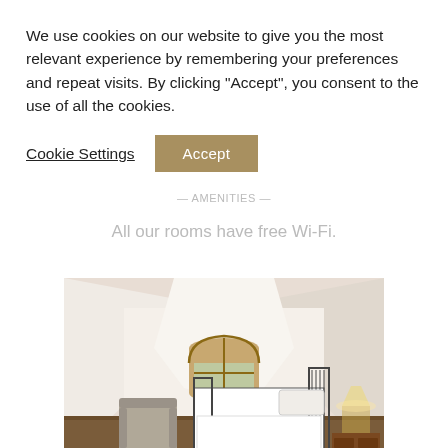We use cookies on our website to give you the most relevant experience by remembering your preferences and repeat visits. By clicking "Accept", you consent to the use of all the cookies.
Cookie Settings | Accept
All our rooms have free Wi-Fi.
[Figure (photo): Hotel room with sloped white ceiling, arched wooden window, a metal-framed bed with white bedding, a grey armchair, and a bedside lamp on a wooden nightstand.]